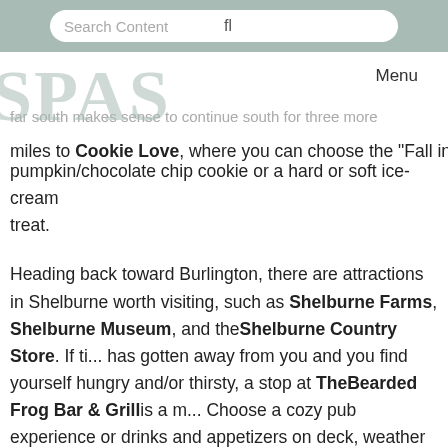Search Content  Menu
[Figure (logo): SPAS watermark logo in sage green]
miles to Cookie Love, where you can choose the "Fall in L... pumpkin/chocolate chip cookie or a hard or soft ice-cream treat.
Heading back toward Burlington, there are attractions in Shelburne worth visiting, such as Shelburne Farms, Shelburne Museum, and the Shelburne Country Store. If time has gotten away from you and you find yourself hungry and/or thirsty, a stop at The Bearded Frog Bar & Grill is a m... Choose a cozy pub experience or drinks and appetizers on deck, weather permitting.
Upon your return to Burlington you can choose a lakefront stroll or a sampling of the Church Street nightlife.